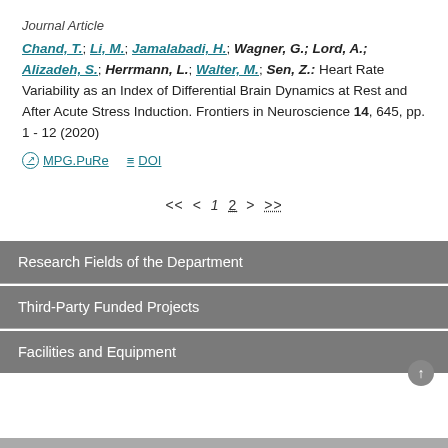Journal Article
Chand, T.; Li, M.; Jamalabadi, H.; Wagner, G.; Lord, A.; Alizadeh, S.; Herrmann, L.; Walter, M.; Sen, Z.: Heart Rate Variability as an Index of Differential Brain Dynamics at Rest and After Acute Stress Induction. Frontiers in Neuroscience 14, 645, pp. 1 - 12 (2020)
MPG.PuRe   DOI
<< < 1 2 > >>
Research Fields of the Department
Third-Party Funded Projects
Facilities and Equipment